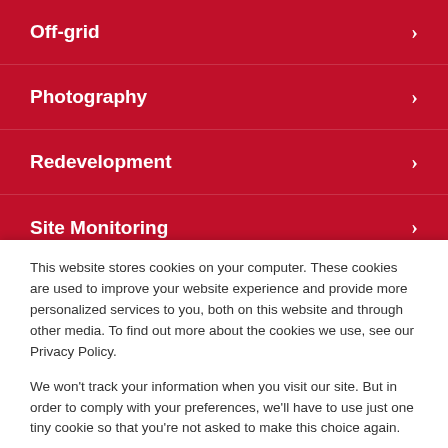Off-grid
Photography
Redevelopment
Site Monitoring
This website stores cookies on your computer. These cookies are used to improve your website experience and provide more personalized services to you, both on this website and through other media. To find out more about the cookies we use, see our Privacy Policy.
We won't track your information when you visit our site. But in order to comply with your preferences, we'll have to use just one tiny cookie so that you're not asked to make this choice again.
Accept  Decline